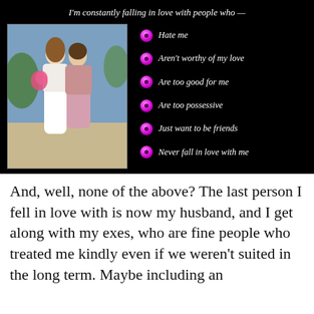[Figure (infographic): Black background panel showing a couple embracing (woman in white dress, man in pink shirt) on the left, and a list of radio-button options on the right under the title 'I'm constantly falling in love with people who —'. Options: Hate me, Aren't worthy of my love, Are too good for me, Are too possessive, Just want to be friends, Never fall in love with me.]
And, well, none of the above? The last person I fell in love with is now my husband, and I get along with my exes, who are fine people who treated me kindly even if we weren't suited in the long term. Maybe including an